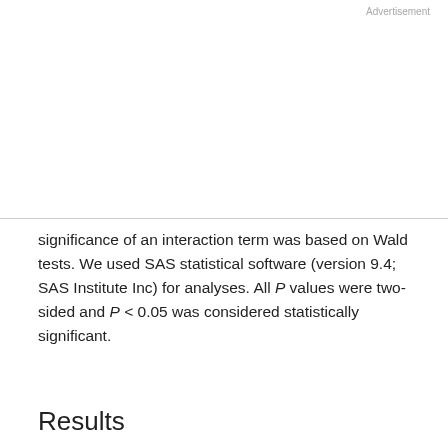Advertisement
significance of an interaction term was based on Wald tests. We used SAS statistical software (version 9.4; SAS Institute Inc) for analyses. All P values were two-sided and P < 0.05 was considered statistically significant.
Results
The mean age at the time of screening mammogram was 57.9 years (range, 50–65 years; Table 1). The majority (63.1%) of participants were non-Hispanic Whites, and 19.4% were African Americans. The mean BMIs at different ages were: 17.2 kg/m² (age 10), 21.8 kg/m² (age
This site uses cookies. By continuing to use our website, you are agreeing to our privacy policy. Accept